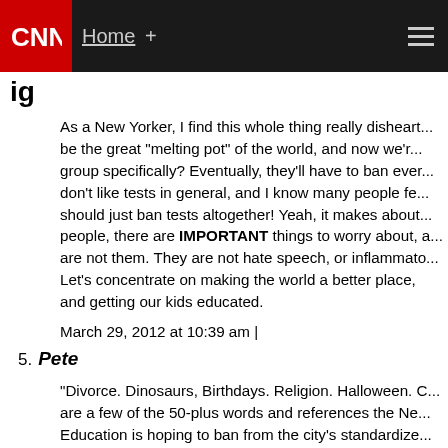CNN | Home +
ig
As a New Yorker, I find this whole thing really disheart... be the great "melting pot" of the world, and now we're... group specifically? Eventually, they'll have to ban ever... don't like tests in general, and I know many people fe... should just ban tests altogether! Yeah, it makes about... people, there are IMPORTANT things to worry about, a... are not them. They are not hate speech, or inflammato... Let's concentrate on making the world a better place, and getting our kids educated.
March 29, 2012 at 10:39 am |
5. Pete
"Divorce. Dinosaurs, Birthdays. Religion. Halloween. C... are a few of the 50-plus words and references the Ne... Education is hoping to ban from the city's standardize...
Don't forget "thought" and "reasoning."